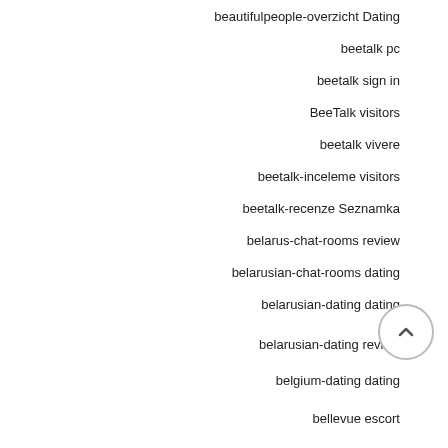beautifulpeople-overzicht Dating
beetalk pc
beetalk sign in
BeeTalk visitors
beetalk vivere
beetalk-inceleme visitors
beetalk-recenze Seznamka
belarus-chat-rooms review
belarusian-chat-rooms dating
belarusian-dating dating
belarusian-dating review
belgium-dating dating
bellevue escort